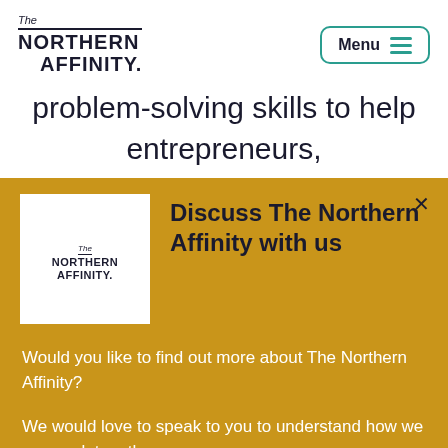The NORTHERN AFFINITY.
problem-solving skills to help entrepreneurs, startups, SMEs & Corporates on an ongoing or project basis. From pinning down business
Discuss The Northern Affinity with us
Would you like to find out more about The Northern Affinity?
We would love to speak to you to understand how we can work together.
Arrange a call